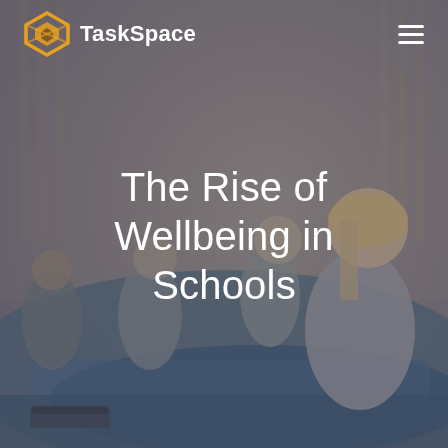[Figure (photo): Children sitting cross-legged on blue yoga mats in a gym, meditating or doing a mindfulness exercise. Blurred background with wooden wall bars.]
TaskSpace
The Rise of Wellbeing in Schools